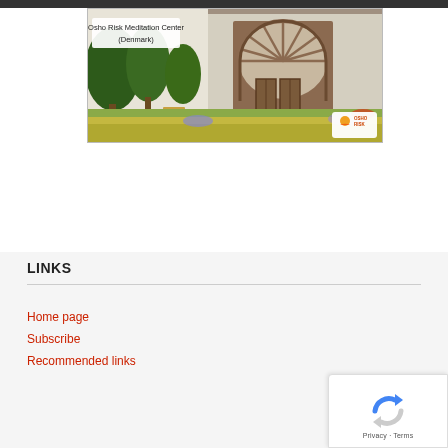[Figure (photo): Osho Risk Meditation Center in Denmark — a building with a large arched window, surrounded by trees and a flowering meadow foreground. An OSHORISK logo badge appears in the bottom-right corner of the image.]
LINKS
Home page
Subscribe
Recommended links